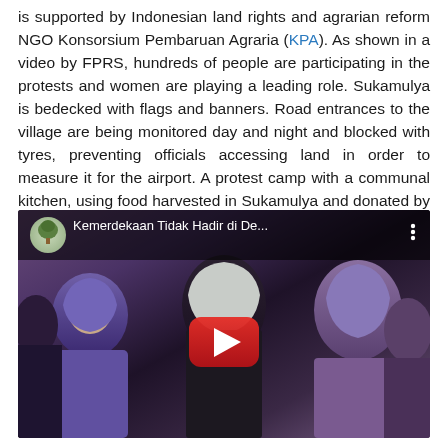is supported by Indonesian land rights and agrarian reform NGO Konsorsium Pembaruan Agraria (KPA). As shown in a video by FPRS, hundreds of people are participating in the protests and women are playing a leading role. Sukamulya is bedecked with flags and banners. Road entrances to the village are being monitored day and night and blocked with tyres, preventing officials accessing land in order to measure it for the airport. A protest camp with a communal kitchen, using food harvested in Sukamulya and donated by villagers, helps maintain high spirits.
[Figure (screenshot): Embedded YouTube video thumbnail showing a group of women, some wearing hijabs, with the video title 'Kemerdekaan Tidak Hadir di De...' and a YouTube play button in the center.]